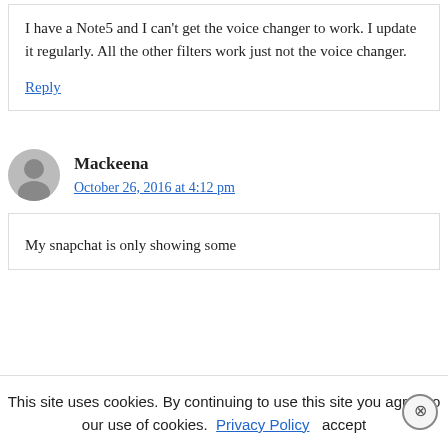I have a Note5 and I can't get the voice changer to work. I update it regularly. All the other filters work just not the voice changer.
Reply
Mackeena
October 26, 2016 at 4:12 pm
My snapchat is only showing some
This site uses cookies. By continuing to use this site you agree to our use of cookies. Privacy Policy  accept